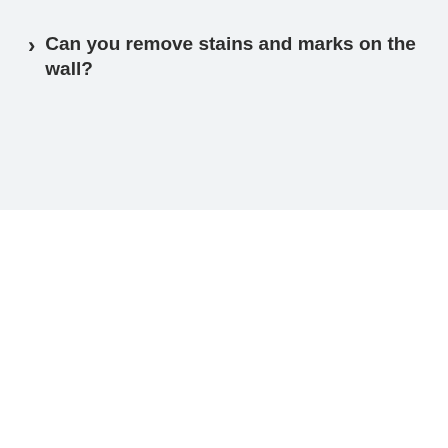Can you remove stains and marks on the wall?